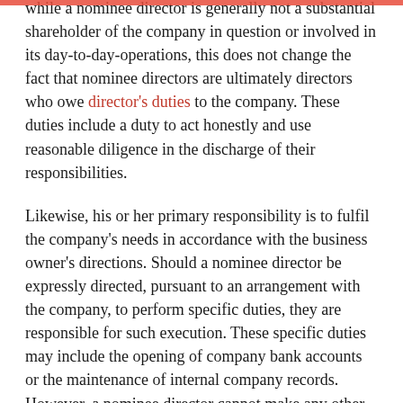while a nominee director is generally not a substantial shareholder of the company in question or involved in its day-to-day-operations, this does not change the fact that nominee directors are ultimately directors who owe director's duties to the company. These duties include a duty to act honestly and use reasonable diligence in the discharge of their responsibilities.
Likewise, his or her primary responsibility is to fulfil the company's needs in accordance with the business owner's directions. Should a nominee director be expressly directed, pursuant to an arrangement with the company, to perform specific duties, they are responsible for such execution. These specific duties may include the opening of company bank accounts or the maintenance of internal company records. However, a nominee director cannot make any other decision or perform duties on behalf of the company at his sole discretion.